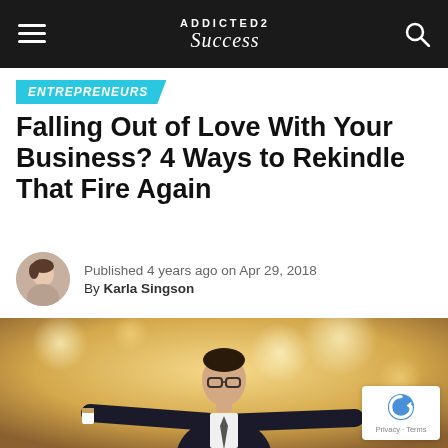ADDICTED2SUCCESS
ENTREPRENEURS
Falling Out of Love With Your Business? 4 Ways to Rekindle That Fire Again
Published 4 years ago on Apr 29, 2018
By Karla Singson
[Figure (photo): Man in suit with glasses looking upward with arms outstretched, holding a coffee cup, bokeh background]